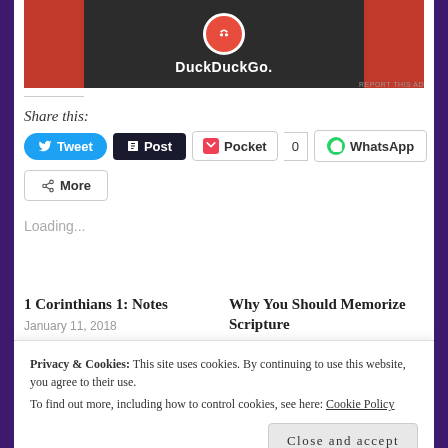[Figure (screenshot): DuckDuckGo advertisement banner with orange sides and dark center showing the DuckDuckGo logo and name]
REPORT THIS AD
Share this:
Tweet  Post  Pocket  0  WhatsApp
More
Loading...
1 Corinthians 1: Notes
January 11, 2018
Why You Should Memorize Scripture
Privacy & Cookies: This site uses cookies. By continuing to use this website, you agree to their use.
To find out more, including how to control cookies, see here: Cookie Policy
Close and accept
In "#stayinspired"